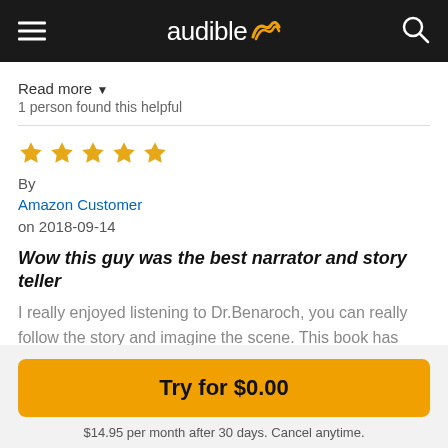audible
Read more ▼
1 person found this helpful
★★★★★
By
Amazon Customer
on 2018-09-14
Wow this guy was the best narrator and story teller
I really enjoyed listening to Dr.Benaroch, you can really follow the story and imagine the scene. This book has helped and inspired me to become a physician one day
Read more ▼
Try for $0.00
$14.95 per month after 30 days. Cancel anytime.